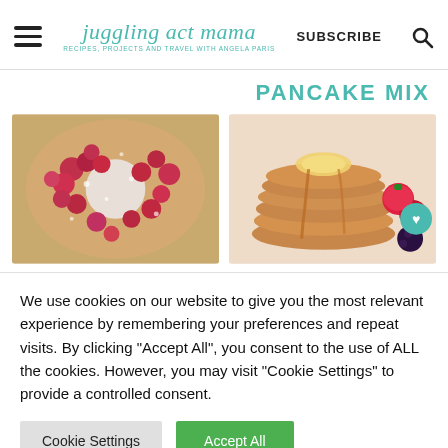juggling act mama — RECIPES, PROJECTS AND TRAVEL WITH ANGELA PARIS — SUBSCRIBE
PANCAKE MIX
[Figure (photo): Close-up photo of a berry pastry/cake with red berries and powdered sugar surrounding a circular hole, dusted with powdered sugar]
[Figure (photo): Stack of golden pancakes with butter melting on top, surrounded by fresh strawberries and blackberries, with a heart/save button overlay]
We use cookies on our website to give you the most relevant experience by remembering your preferences and repeat visits. By clicking "Accept All", you consent to the use of ALL the cookies. However, you may visit "Cookie Settings" to provide a controlled consent.
Cookie Settings | Accept All